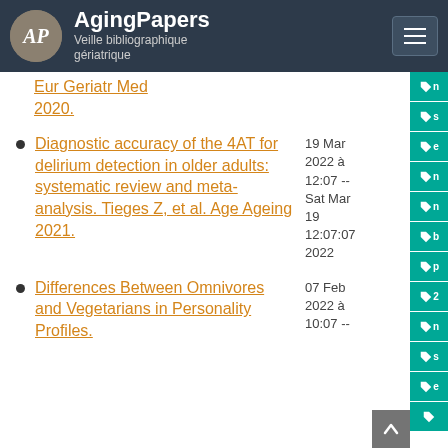AgingPapers — Veille bibliographique gériatrique
Eur Geriatr Med 2020.
Diagnostic accuracy of the 4AT for delirium detection in older adults: systematic review and meta-analysis. Tieges Z, et al. Age Ageing 2021. — 19 Mar 2022 à 12:07 -- Sat Mar 19 12:07:07 2022
Differences Between Omnivores and Vegetarians in Personality Profiles. — 07 Feb 2022 à 10:07 --